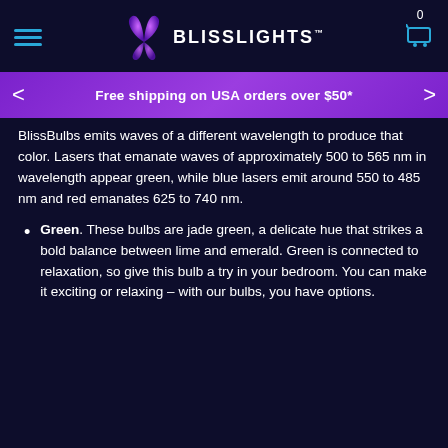BlissLights header with hamburger menu, butterfly logo, BLISSLIGHTS wordmark, cart icon, 0
Free shipping on USA orders over $50*
BlissBulbs emits waves of a different wavelength to produce that color. Lasers that emanate waves of approximately 500 to 565 nm in wavelength appear green, while blue lasers emit around 550 to 485 nm and red emanates 625 to 740 nm.
Green. These bulbs are jade green, a delicate hue that strikes a bold balance between lime and emerald. Green is connected to relaxation, so give this bulb a try in your bedroom. You can make it exciting or relaxing – with our bulbs, you have options.